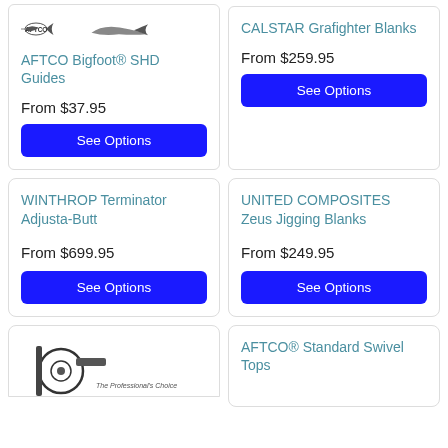[Figure (logo): AFTCO fish logo and product silhouette image at top left card]
AFTCO Bigfoot® SHD Guides
From $37.95
See Options
CALSTAR Grafighter Blanks
From $259.95
See Options
WINTHROP Terminator Adjusta-Butt
From $699.95
See Options
UNITED COMPOSITES Zeus Jigging Blanks
From $249.95
See Options
[Figure (logo): Fishing reel product image at bottom left, with text The Professional's Choice]
AFTCO® Standard Swivel Tops